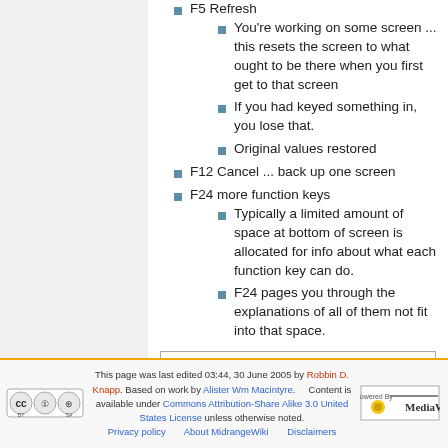F5 Refresh
You're working on some screen ... this resets the screen to what ought to be there when you first get to that screen
If you had keyed something in, you lose that.
Original values restored
F12 Cancel ... back up one screen
F24 more function keys
Typically a limited amount of space at bottom of screen is allocated for info about what each function key can do.
F24 pages you through the explanations of all of them not fit into that space.
Category:  Basics 101
This page was last edited 03:44, 30 June 2005 by Robbin D. Knapp. Based on work by Alister Wm Macintyre. Content is available under Commons Attribution-Share Alike 3.0 United States License unless otherwise noted. Privacy policy   About MidrangeWiki   Disclaimers